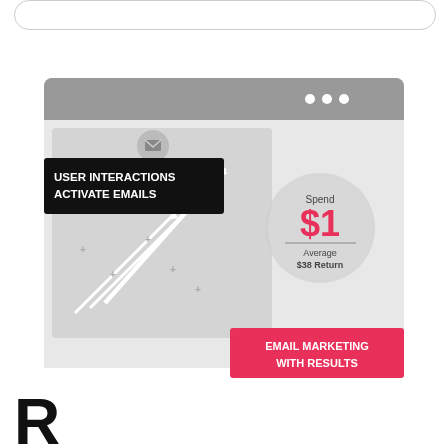[Figure (infographic): Browser window mockup showing email marketing infographic. Contains label 'USER INTERACTIONS ACTIVATE EMAILS' in black box, an upward trending line chart with arrow, a circle graphic showing 'Spend $1 / Average $38 Return', and a pink button labeled 'EMAIL MARKETING WITH RESULTS'.]
R